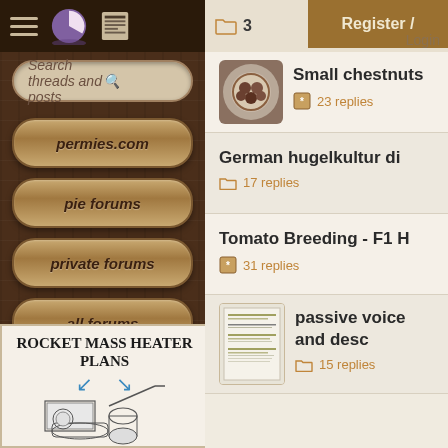[Figure (screenshot): Mobile web forum app interface showing a navigation sidebar with wood texture background and forum thread listings]
permies.com
pie forums
private forums
all forums
Search threads and posts
Register /
Login
Small chestnuts
23 replies
German hugelkultur di
17 replies
Tomato Breeding - F1 H
31 replies
passive voice and desc
15 replies
[Figure (illustration): Rocket Mass Heater Plans advertisement with blue arrows and isometric heater drawing]